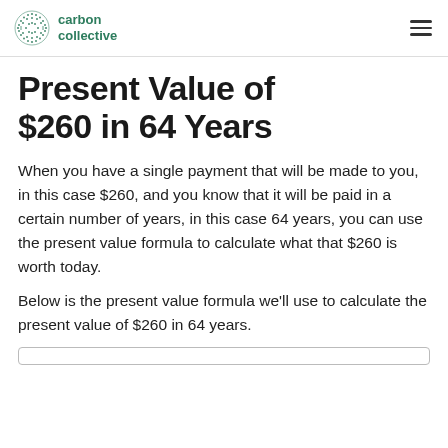carbon collective
Present Value of $260 in 64 Years
When you have a single payment that will be made to you, in this case $260, and you know that it will be paid in a certain number of years, in this case 64 years, you can use the present value formula to calculate what that $260 is worth today.
Below is the present value formula we'll use to calculate the present value of $260 in 64 years.